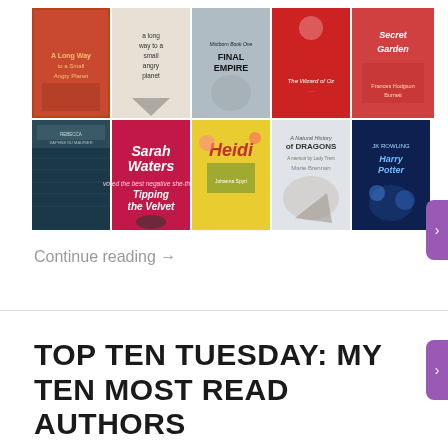[Figure (photo): A 5x2 grid of book covers including titles such as 'A Long Way to a Small Angry Planet', 'Final Empire', 'The Wizard of Oz', 'Secret Garden', 'Tipping the Velvet' by Sarah Waters, 'Heidi', 'A Natural History of Dragons' by Marie Brennan, and 'Harry Potter' by JK Rowling.]
Continue reading →
TOP TEN TUESDAY: MY TEN MOST READ AUTHORS